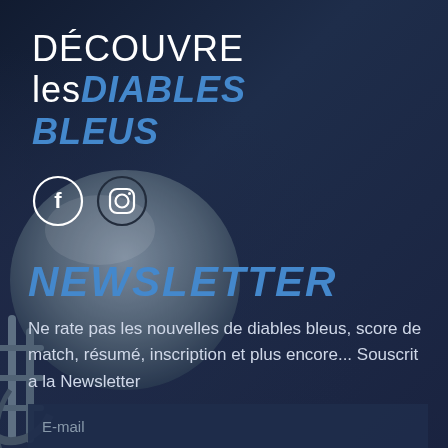DÉCOUVRE les DIABLES BLEUS
[Figure (illustration): Social media icons: Facebook (f) and Instagram camera icon, both in circular outlines on dark navy background]
NEWSLETTER
Ne rate pas les nouvelles de diables bleus, score de match, résumé, inscription et plus encore... Souscrit a la Newsletter
E-mail